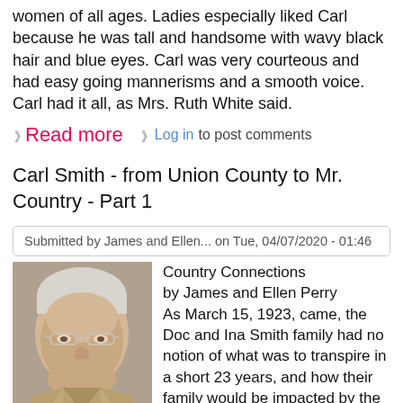women of all ages. Ladies especially liked Carl because he was tall and handsome with wavy black hair and blue eyes. Carl was very courteous and had easy going mannerisms and a smooth voice. Carl had it all, as Mrs. Ruth White said.
Read more  Log in to post comments
Carl Smith - from Union County to Mr. Country - Part 1
Submitted by James and Ellen... on Tue, 04/07/2020 - 01:46
[Figure (photo): Portrait photo of an elderly man with white/gray hair and glasses, wearing a tan/khaki jacket.]
Country Connections by James and Ellen Perry As March 15, 1923, came, the Doc and Ina Smith family had no notion of what was to transpire in a short 23 years, and how their family would be impacted by the